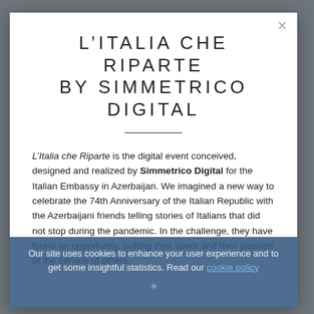L'ITALIA CHE RIPARTE BY SIMMETRICO DIGITAL
L'Italia che Riparte is the digital event conceived, designed and realized by Simmetrico Digital for the Italian Embassy in Azerbaijan. We imagined a new way to celebrate the 74th Anniversary of the Italian Republic with the Azerbaijani friends telling stories of Italians that did not stop during the pandemic. In the challenge, they have found an opportunity, putting their talent and their passion at the service of others.
Our site uses cookies to enhance your user experience and to get some insightful statistics. Read our cookie policy